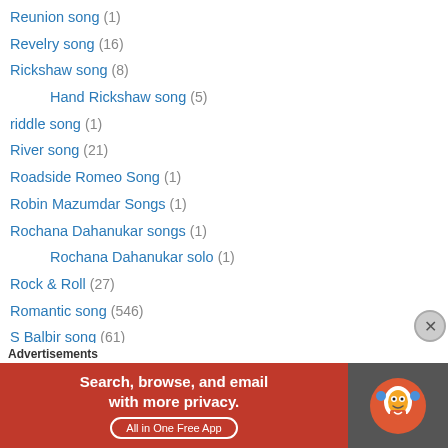Reunion song (1)
Revelry song (16)
Rickshaw song (8)
Hand Rickshaw song (5)
riddle song (1)
River song (21)
Roadside Romeo Song (1)
Robin Mazumdar Songs (1)
Rochana Dahanukar songs (1)
Rochana Dahanukar solo (1)
Rock & Roll (27)
Romantic song (546)
S Balbir song (61)
S Balbir solo song (3)
S D Batish songs (49)
S D Batish solo songs (14)
S D Burman song as a singer (18)
[Figure (infographic): DuckDuckGo advertisement banner: Search, browse, and email with more privacy. All in One Free App.]